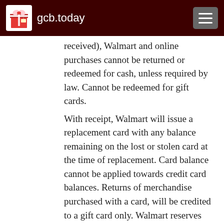gcb.today
received), Walmart and online purchases cannot be returned or redeemed for cash, unless required by law. Cannot be redeemed for gift cards. With receipt, Walmart will issue a replacement card with any balance remaining on the lost or stolen card at the time of replacement. Card balance cannot be applied towards credit card balances. Returns of merchandise purchased with a card, will be credited to a gift card only. Walmart reserves the right to cancel card if obtained illegally (including through fraud). The Vanilla Prepaid MasterCard is issued by Peoples Trust Company pursuant to license by MasterCard International. MasterCard and the MasterCard Brand Mark are registered trademarks of MasterCard International Incorporated. This Vanilla Prepaid Visa is issued